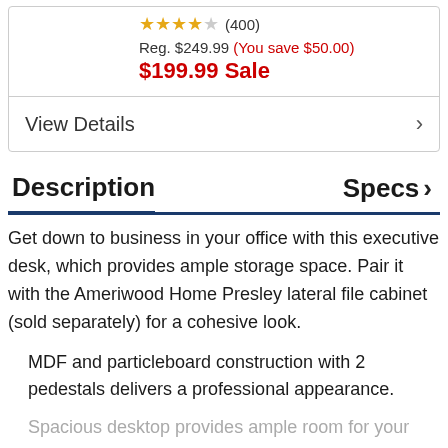★★★★☆ (400)
Reg. $249.99 (You save $50.00)
$199.99 Sale
View Details
Description
Specs
Get down to business in your office with this executive desk, which provides ample storage space. Pair it with the Ameriwood Home Presley lateral file cabinet (sold separately) for a cohesive look.
MDF and particleboard construction with 2 pedestals delivers a professional appearance.
Spacious desktop provides ample room for your laptop, a lamp, a desk organizer and other essentials.